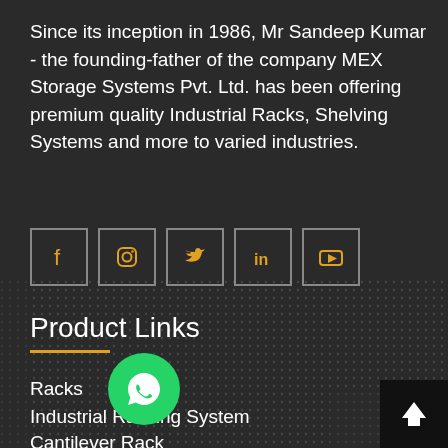Since its inception in 1986, Mr Sandeep Kumar - the founding-father of the company MEX Storage Systems Pvt. Ltd. has been offering premium quality Industrial Racks, Shelving Systems and more to varied industries.
[Figure (infographic): Social media icons: Facebook, Instagram, Twitter, LinkedIn, YouTube - each in a square border with golden/yellow icon color]
Product Links
Racks
Industrial Racking System
Cantilever Rack
Heavy Duty Rack
Heavy Duty Storage Rack
[Figure (infographic): WhatsApp floating button - green circle with white phone handset icon]
[Figure (infographic): Back to top button - dark square with white upward arrow]